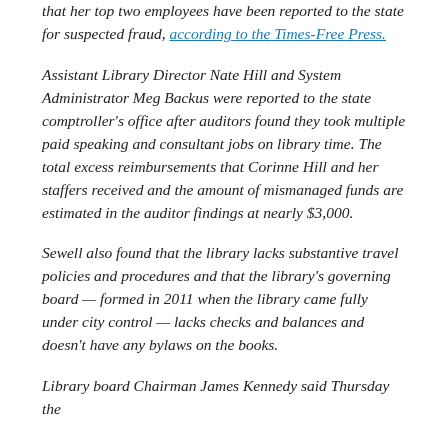that her top two employees have been reported to the state for suspected fraud, according to the Times-Free Press.
Assistant Library Director Nate Hill and System Administrator Meg Backus were reported to the state comptroller's office after auditors found they took multiple paid speaking and consultant jobs on library time. The total excess reimbursements that Corinne Hill and her staffers received and the amount of mismanaged funds are estimated in the auditor findings at nearly $3,000.
Sewell also found that the library lacks substantive travel policies and procedures and that the library's governing board — formed in 2011 when the library came fully under city control — lacks checks and balances and doesn't have any bylaws on the books.
Library board Chairman James Kennedy said Thursday the